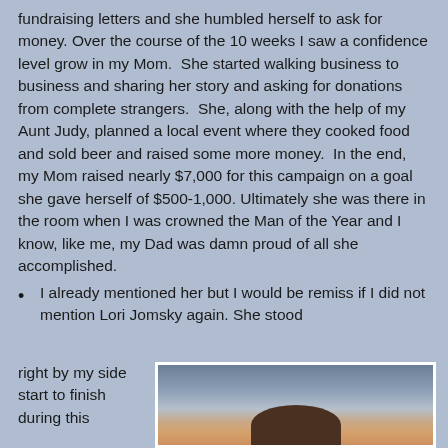fundraising letters and she humbled herself to ask for money. Over the course of the 10 weeks I saw a confidence level grow in my Mom.  She started walking business to business and sharing her story and asking for donations from complete strangers.  She, along with the help of my Aunt Judy, planned a local event where they cooked food and sold beer and raised some more money.  In the end, my Mom raised nearly $7,000 for this campaign on a goal she gave herself of $500-1,000. Ultimately she was there in the room when I was crowned the Man of the Year and I know, like me, my Dad was damn proud of all she accomplished.
I already mentioned her but I would be remiss if I did not mention Lori Jomsky again. She stood right by my side start to finish during this
[Figure (photo): Photo of a person, partially visible, showing hair and upper body, with a blurred background.]